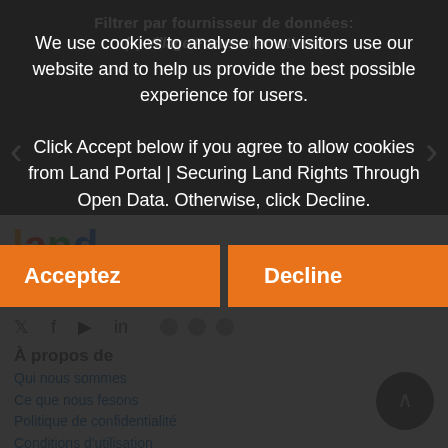Filtrer par fournisseur de données:
(–) Village Focus International
We use cookies to analyse how visitors use our website and to help us provide the best possible experience for users.
Click Accept below if you agree to allow cookies from Land Portal | Securing Land Rights Through Open Data. Otherwise, click Decline.
Acceptez | Decline
[Figure (logo): Land Portal logo with colored letters l, a, n, d and portal text]
À propos de
Qui nous sommes
Ce que nous fesons
Politique de confidentialité
Conditions d'utilisation
Contact
Impliquez-vous
Notre mission